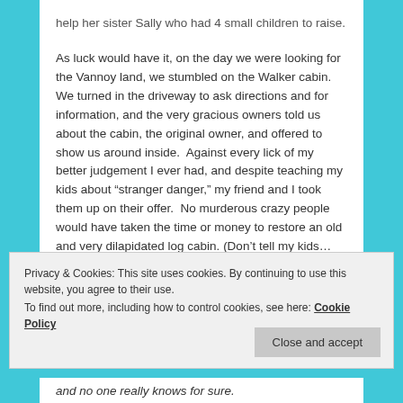help her sister Sally who had 4 small children to raise.
As luck would have it, on the day we were looking for the Vannoy land, we stumbled on the Walker cabin.  We turned in the driveway to ask directions and for information, and the very gracious owners told us about the cabin, the original owner, and offered to show us around inside.  Against every lick of my better judgement I ever had, and despite teaching my kids about “stranger danger,” my friend and I took them up on their offer.  No murderous crazy people would have taken the time or money to restore an old and very dilapidated log cabin. (Don’t tell my kids…OK???)
Privacy & Cookies: This site uses cookies. By continuing to use this website, you agree to their use.
To find out more, including how to control cookies, see here: Cookie Policy
and no one really knows for sure.